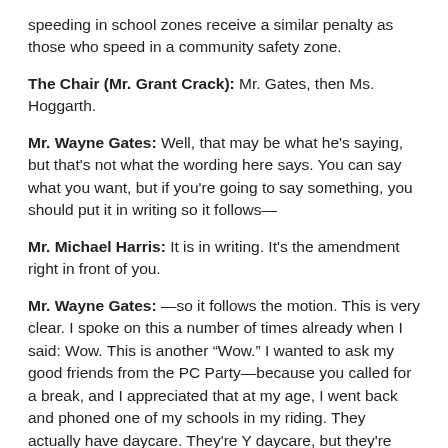speeding in school zones receive a similar penalty as those who speed in a community safety zone.
The Chair (Mr. Grant Crack): Mr. Gates, then Ms. Hoggarth.
Mr. Wayne Gates: Well, that may be what he's saying, but that's not what the wording here says. You can say what you want, but if you're going to say something, you should put it in writing so it follows—
Mr. Michael Harris: It is in writing. It's the amendment right in front of you.
Mr. Wayne Gates: —so it follows the motion. This is very clear. I spoke on this a number of times already when I said: Wow. This is another "Wow." I wanted to ask my good friends from the PC Party—because you called for a break, and I appreciated that at my age, I went back and phoned one of my schools in my riding. They actually have daycare. They're Y daycare, but they're operating in schools. She said